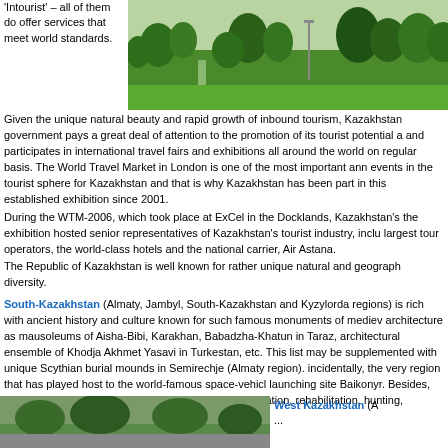'Intourist' – all of them do offer services that meet world standards.
[Figure (photo): Aerial or elevated view of a park or city area with trees and greenery in Kazakhstan]
Given the unique natural beauty and rapid growth of inbound tourism, Kazakhstan government pays a great deal of attention to the promotion of its tourist potential and participates in international travel fairs and exhibitions all around the world on a regular basis. The World Travel Market in London is one of the most important annual events in the tourist sphere for Kazakhstan and that is why Kazakhstan has been taking part in this established exhibition since 2001.
During the WTM-2006, which took place at ExCel in the Docklands, Kazakhstan's the exhibition hosted senior representatives of Kazakhstan's tourist industry, including largest tour operators, the world-class hotels and the national carrier, Air Astana.
The Republic of Kazakhstan is well known for rather unique natural and geographical diversity.
South-Kazakhstan (Almaty, Jambyl, South-Kazakhstan and Kyzylorda regions) is rich with ancient history and culture known for such famous monuments of medieval architecture as mausoleums of Aisha-Bibi, Karakhan, Babadzha-Khatun in Taraz, architectural ensemble of Khodja Akhmet Yasavi in Turkestan, etc. This list may be supplemented with unique Scythian burial mounds in Semirechje (Almaty region). incidentally, the very region that has played host to the world-famous space-vehicle launching site Baikonyr. Besides, the region affords unique climatic opportunities for recreation, rehabilitation, hunting, alpinism, mountain skiing and skating.
[Figure (photo): Landscape or scenic photo at the bottom left of the page]
West Kazakhstan (A...